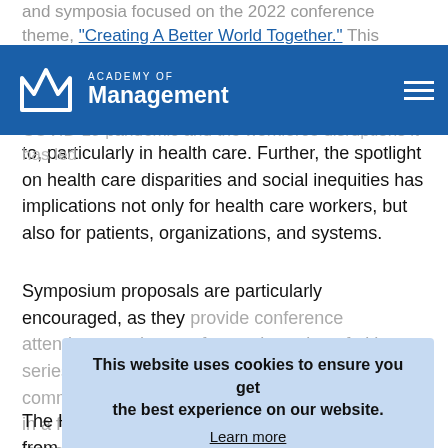Academy of Management
and symposia focused on the 2022 conference theme, "Creating A Better World Together." This theme is especially relevant for HCM given the nearly two years of the COVID-19 pandemic and the workforce disruptions it has led to, particularly in health care. Further, the spotlight on health care disparities and social inequities has implications not only for health care workers, but also for patients, organizations, and systems.
Symposium proposals are particularly encouraged, as they provide conference attendees a coherent, focused session of either a series of authored papers explicitly linked to a common theme, or a group of panelists engaged in a formal interactive discussion around particular issues or questions. Symposia are more likely to be accepted if they are designed and submitted for co-sponsorship by multiple divisions or interest groups.
This website uses cookies to ensure you get the best experience on our website.
Learn more
Got it!
The HCM division also encourages submissions from Ph.D.